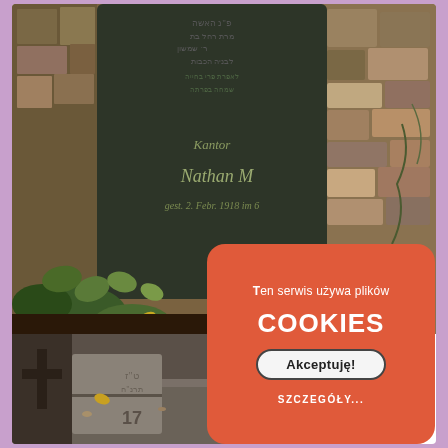[Figure (photo): Jewish cemetery tombstones with Hebrew and German inscriptions including 'Kantor Nathan M. gest. 2. Febr. 1918', surrounded by stone walls and vegetation]
[Figure (photo): Jewish cemetery grave markers partially visible, showing Hebrew inscriptions and broken stone slabs with numbers]
Ten serwis używa plików COOKIES Akceptuję! SZCZEGÓŁY...